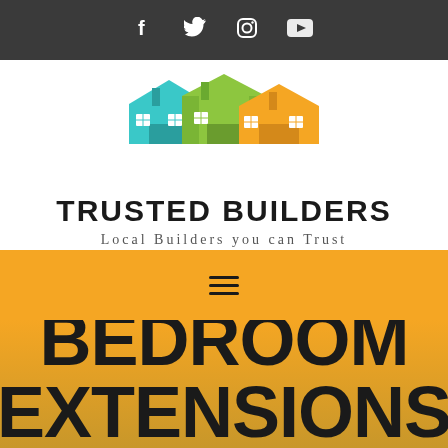Social media icons: Facebook, Twitter, Instagram, YouTube
[Figure (logo): Trusted Builders logo with three colorful houses (teal, green/lime, orange) above the brand name]
TRUSTED BUILDERS
Local Builders you can Trust
[Figure (other): Hamburger menu icon on orange navigation bar]
BEDROOM EXTENSIONS